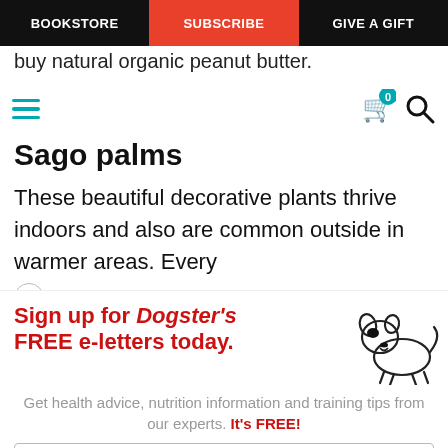BOOKSTORE | SUBSCRIBE | GIVE A GIFT
buy natural organic peanut butter.
Sago palms
These beautiful decorative plants thrive indoors and also are common outside in warmer areas. Every
[Figure (infographic): Dogster newsletter signup advertisement with illustrated dog graphic. Headline: Sign up for Dogster's FREE e-letters today. Subtext: Get health advice, nutrition information and training tips from our experts. It's FREE! Email input field and YES! SIGN ME UP button.]